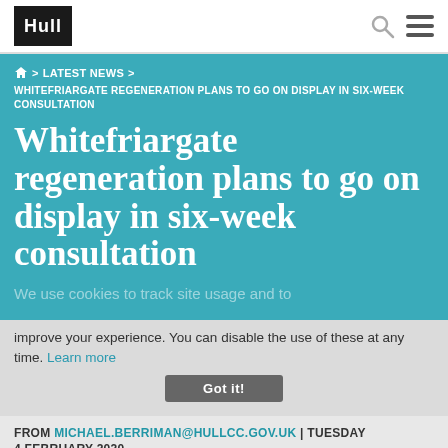Hull
🏠 > LATEST NEWS > WHITEFRIARGATE REGENERATION PLANS TO GO ON DISPLAY IN SIX-WEEK CONSULTATION
Whitefriargate regeneration plans to go on display in six-week consultation
We use cookies to track site usage and to improve your experience. You can disable the use of these at any time. Learn more
FROM MICHAEL.BERRIMAN@HULLCC.GOV.UK | TUESDAY 4 FEBRUARY 2020
Got it!
SHARE THIS ARTICLE